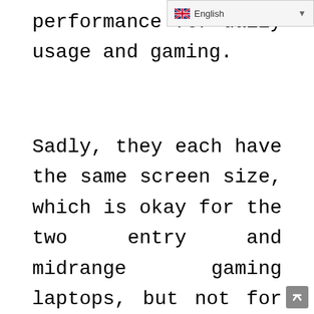English
performance for daily usage and gaming.
Sadly, they each have the same screen size, which is okay for the two entry and midrange gaming laptops, but not for the premium jet black model. It would be better off if the big brother came with a bigger